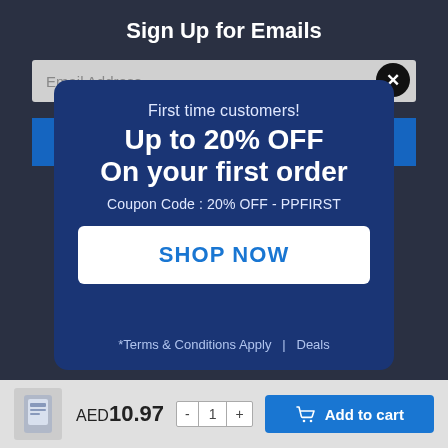Sign Up for Emails
[Figure (screenshot): Email address input field with close (X) button and blue subscribe button bar in background]
First time customers!
Up to 20% OFF
On your first order
Coupon Code : 20% OFF - PPFIRST
SHOP NOW
*Terms & Conditions Apply   |   Deals
AED10.97
Add to cart